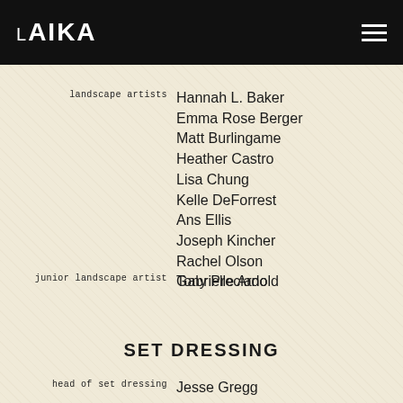LAIKA
landscape artists: Hannah L. Baker, Emma Rose Berger, Matt Burlingame, Heather Castro, Lisa Chung, Kelle DeForrest, Ans Ellis, Joseph Kincher, Rachel Olson, Tony Preciado
junior landscape artist: Gabrielle Arnold
SET DRESSING
head of set dressing: Jesse Gregg